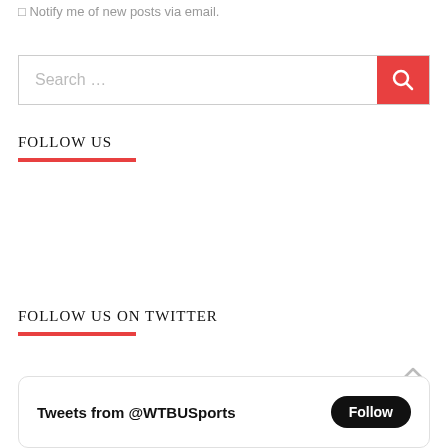Notify me of new posts via email.
[Figure (screenshot): Search bar with placeholder text 'Search ...' and a red search button with magnifying glass icon]
FOLLOW US
FOLLOW US ON TWITTER
[Figure (screenshot): Tweet card widget showing 'Tweets from @WTBUSports' with a dark Follow button]